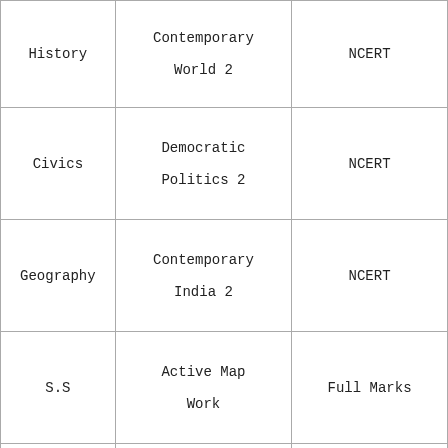| History | Contemporary World 2 | NCERT |
| Civics | Democratic Politics 2 | NCERT |
| Geography | Contemporary India 2 | NCERT |
| S.S | Active Map Work | Full Marks |
| Economics | Understanding Economics | NCERT |
|  |  |  |